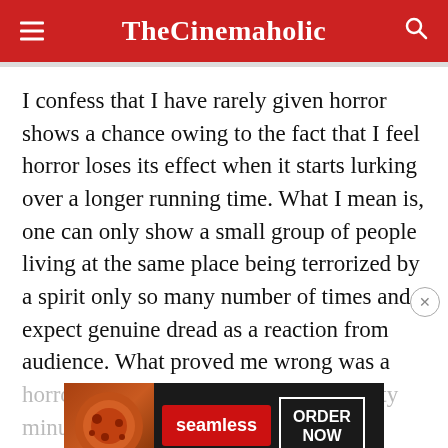TheCinemaholic
I confess that I have rarely given horror shows a chance owing to the fact that I feel horror loses its effect when it starts lurking over a longer running time. What I mean is, one can only show a small group of people living at the same place being terrorized by a spirit only so many number of times and expect genuine dread as a reaction from audience. What proved me wrong was a horror show with ten episodes, each fifty minutes, every turn, and turns out that investment in
[Figure (screenshot): Seamless food delivery advertisement banner with pizza image, red Seamless logo button, and white ORDER NOW button on dark background]